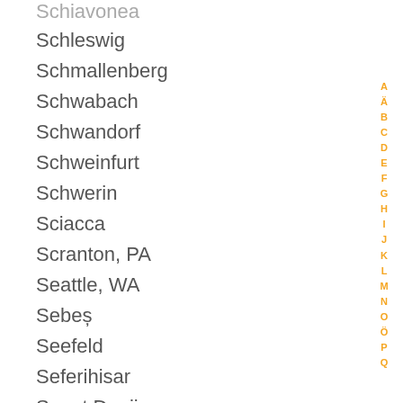Schiavonea
Schleswig
Schmallenberg
Schwabach
Schwandorf
Schweinfurt
Schwerin
Sciacca
Scranton, PA
Seattle, WA
Sebeș
Seefeld
Seferihisar
Seget Donji
Seia
Seiny